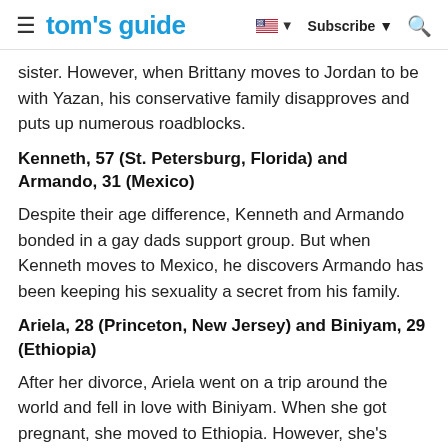tom's guide | Subscribe
sister. However, when Brittany moves to Jordan to be with Yazan, his conservative family disapproves and puts up numerous roadblocks.
Kenneth, 57 (St. Petersburg, Florida) and Armando, 31 (Mexico)
Despite their age difference, Kenneth and Armando bonded in a gay dads support group. But when Kenneth moves to Mexico, he discovers Armando has been keeping his sexuality a secret from his family.
Ariela, 28 (Princeton, New Jersey) and Biniyam, 29 (Ethiopia)
After her divorce, Ariela went on a trip around the world and fell in love with Biniyam. When she got pregnant, she moved to Ethiopia. However, she's